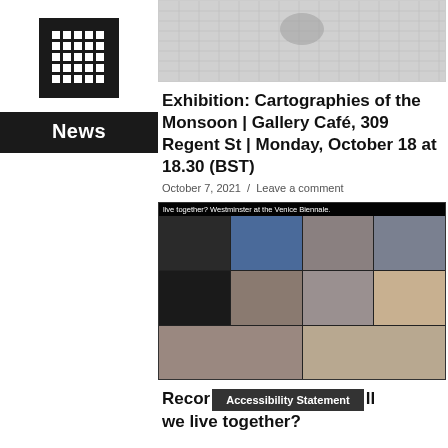[Figure (logo): Parliament/institution grid icon (white grid on black background)]
News
[Figure (photo): Abstract satellite/aerial image, light grey tones, possibly map or terrain]
Exhibition: Cartographies of the Monsoon | Gallery Café, 309 Regent St | Monday, October 18 at 18.30 (BST)
October 7, 2021  /  Leave a comment
[Figure (screenshot): Zoom/video call screenshot with multiple participants in grid layout, with header text 'live together? Westminster at the Venice Biennale.']
Recording: How will we live together?
Accessibility Statement